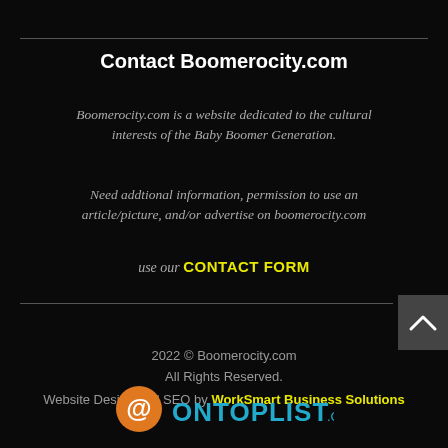Contact Boomerocity.com
Boomerocity.com is a website dedicated to the cultural interests of the Baby Boomer Generation.
Need addtional information, permission to use an article/picture, and/or advertise on boomerocity.com
use our CONTACT FORM
2022 © Boomerocity.com All Rights Reserved.
Website Design and SEO by WorkSmart Business Solutions
[Figure (logo): OnTopList.com logo with orange @ symbol and teal text]